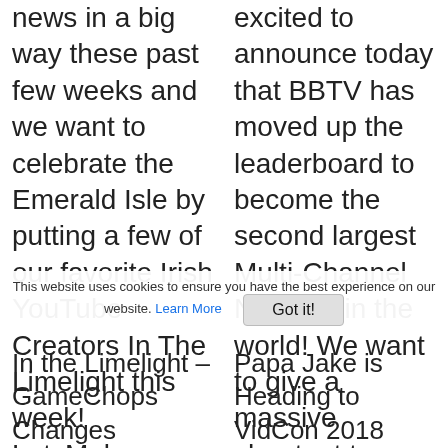news in a big way these past few weeks and we want to celebrate the Emerald Isle by putting a few of our favorite Irish YouTube Creators In The Limelight this week! LetzMakeup Siobhán is a professional makeup artist whose range of makeup tutorials spans from elegant wedding makeup, to [...]
excited to announce today that BBTV has moved up the leaderboard to become the second largest Multi-Channel Network in the world! We want to give a massive shoutout to our incredible #BBTVfam that's made up of the some of the biggest and best creators on YouTube for making this possible! [...]
This website uses cookies to ensure you have the best experience on our website. Learn More
Got it!
In the Limelight – GameChops Changes
Papa Jake is Heading to VidCon 2018